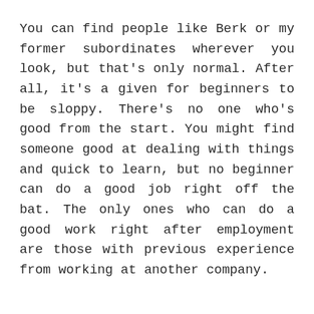You can find people like Berk or my former subordinates wherever you look, but that's only normal. After all, it's a given for beginners to be sloppy. There's no one who's good from the start. You might find someone good at dealing with things and quick to learn, but no beginner can do a good job right off the bat. The only ones who can do a good work right after employment are those with previous experience from working at another company.